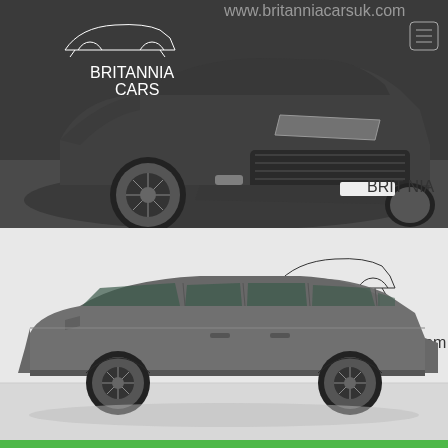[Figure (photo): Front three-quarter view of a dark grey Land Rover Discovery Sport SUV in a showroom with dark background. Britannia Cars logo (white outline car silhouette with 'BRITANNIA CARS' text) overlaid top-left. Website URL 'www.britanniacarsuk.com' at top center. Hamburger menu icon top-right.]
[Figure (photo): Side profile view of a grey Land Rover Discovery Sport SUV in a white showroom. Britannia Cars dealership logo and 'www.britanniacarsuk.com' signage visible on the wall in the background.]